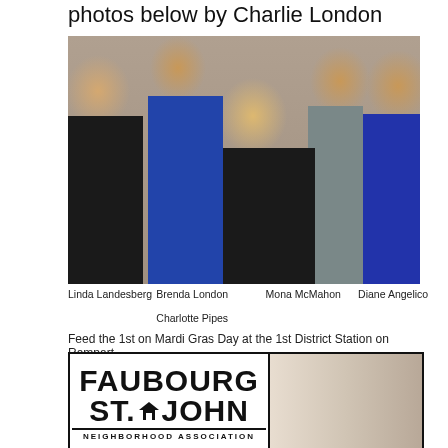photos below by Charlie London
[Figure (photo): Group photo of five women at the 1st District Station on Rampart on Mardi Gras Day. Left to right: Linda Landesberg, Charlotte Pipes, Brenda London, Mona McMahon, Diane Angelico. The center woman holds up a plate with a pastry.]
Linda Landesberg   Brenda London   Mona McMahon   Diane Angelico
                         Charlotte Pipes
Feed the 1st on Mardi Gras Day at the 1st District Station on Rampart
[Figure (logo): Faubourg St. John Neighborhood Association logo with bold black text and a house icon, next to a partial photo of an indoor scene.]